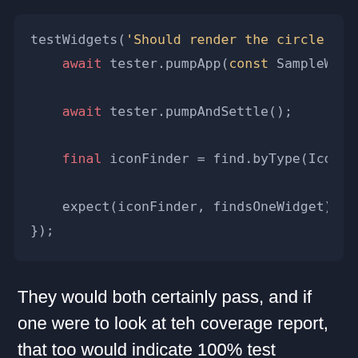[Figure (screenshot): Code snippet showing a Flutter widget test with testWidgets, await tester.pumpApp, await tester.pumpAndSettle, final iconFinder = find.byType(Icon), expect(iconFinder, findsOneWidget), and closing });]
They would both certainly pass, and if one were to look at teh coverage report, that too would indicate 100% test coverage, but the test as a whole is pretty worthless, while it is running the